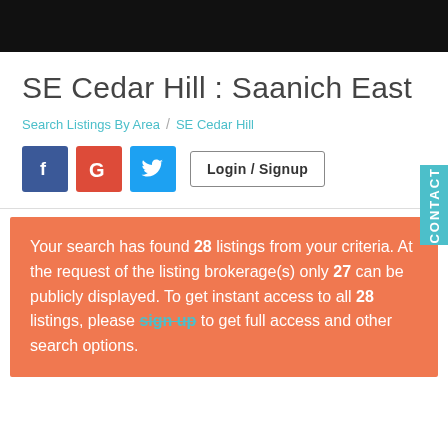SE Cedar Hill : Saanich East
Search Listings By Area / SE Cedar Hill
[Figure (screenshot): Social login buttons: Facebook (blue), Google (red), Twitter (light blue), and a Login / Signup button]
Your search has found 28 listings from your criteria. At the request of the listing brokerage(s) only 27 can be publicly displayed. To get instant access to all 28 listings, please sign up to get full access and other search options.